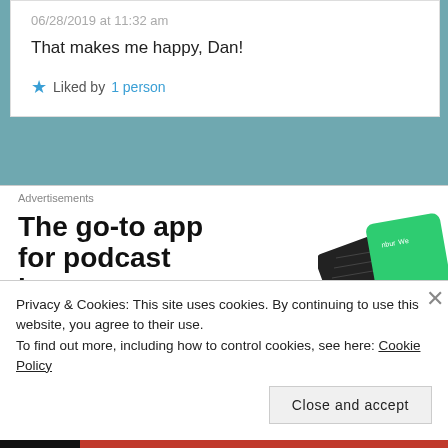06/28/2019 at 11:32 am
That makes me happy, Dan!
★ Liked by 1 person
Advertisements
[Figure (illustration): Advertisement: The go-to app for podcast lovers. Shows dark phone and green card in background.]
Privacy & Cookies: This site uses cookies. By continuing to use this website, you agree to their use.
To find out more, including how to control cookies, see here: Cookie Policy
Close and accept